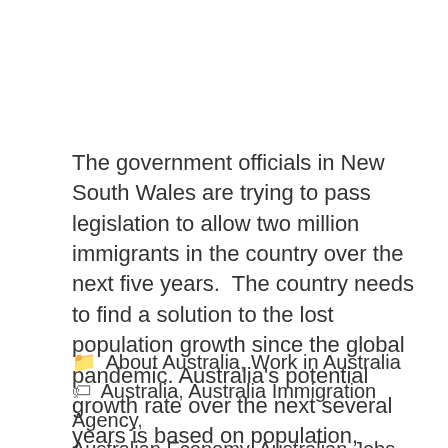The government officials in New South Wales are trying to pass legislation to allow two million immigrants in the country over the next five years.  The country needs to find a solution to the lost population growth since the global pandemic. Australia's potential growth rate over the next several years is based on population, participation, ... Read more
About Australia, Work in Australia
Australia, Australia Immigration Agency, Australian Economy, Australian Jobs